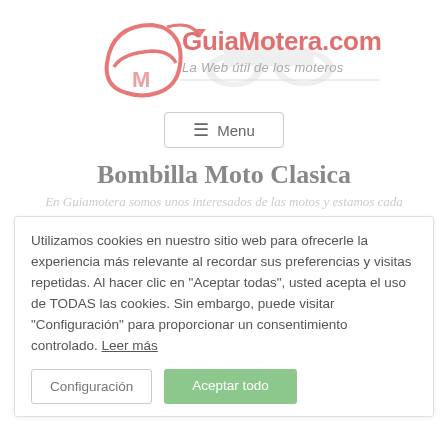[Figure (logo): GuiaMotera.com logo with pink helmet graphic and site name in pink/coral text, tagline 'La Web útil de los moteros' in gray italic]
≡ Menu
Bombilla Moto Clasica
En Guiamotera somos unos interesados de las motos y estamos cada
Utilizamos cookies en nuestro sitio web para ofrecerle la experiencia más relevante al recordar sus preferencias y visitas repetidas. Al hacer clic en "Aceptar todas", usted acepta el uso de TODAS las cookies. Sin embargo, puede visitar "Configuración" para proporcionar un consentimiento controlado. Leer más
Configuración
Aceptar todo